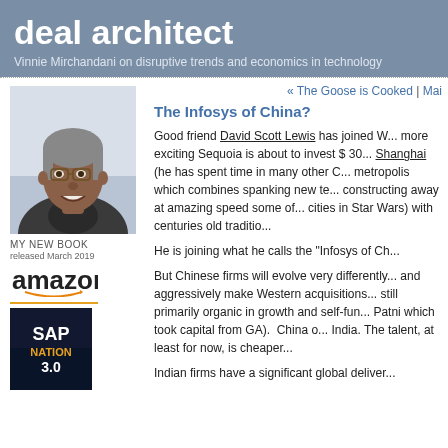deal architect
Vinnie Mirchandani on disruptive trends and economics in technology
[Figure (photo): Portrait photo of a man with glasses, smiling, gray hair]
MY NEW BOOK
released March 2019
[Figure (logo): Amazon logo with smile]
[Figure (illustration): SAP Nation 3.0 book cover]
« The Goose is Cooked | Mai
The Infosys of China?
Good friend David Scott Lewis has joined W... more exciting Sequoia is about to invest $ 30... Shanghai (he has spent time in many other C... metropolis which combines spanking new te... constructing away at amazing speed some of... cities in Star Wars) with centuries old traditio...
He is joining what he calls the "Infosys of Ch...
But Chinese firms will evolve very differently... and aggressively make Western acquisitions... still primarily organic in growth and self-fun... Patni which took capital from GA).  China o... India. The talent, at least for now, is cheaper...
Indian firms have a significant global deliver...